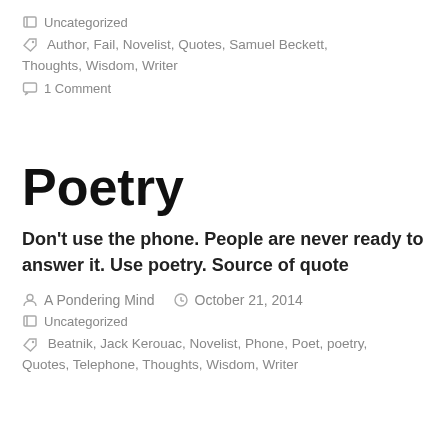Uncategorized
Author, Fail, Novelist, Quotes, Samuel Beckett, Thoughts, Wisdom, Writer
1 Comment
Poetry
Don't use the phone. People are never ready to answer it. Use poetry. Source of quote
A Pondering Mind   October 21, 2014
Uncategorized
Beatnik, Jack Kerouac, Novelist, Phone, Poet, poetry, Quotes, Telephone, Thoughts, Wisdom, Writer